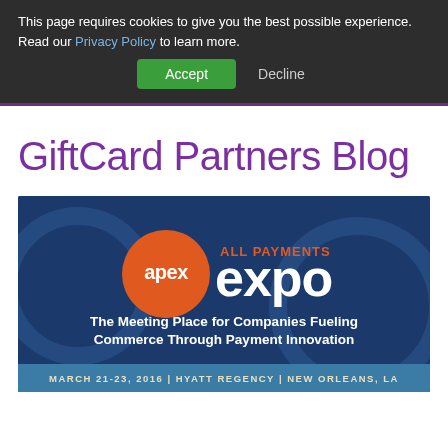This page requires cookies to give you the best possible experience. Read our Privacy Policy to learn more.
Accept | Decline
GiftCard Partners Blog
[Figure (illustration): All Payments Expo (apex) promotional banner. Dark navy blue background with orange circular apex logo on the left, 'ALL PAYMENTS expo' text in orange and white on top. Center text reads 'The Meeting Place for Companies Fueling Commerce Through Payment Innovation' in bold white. Bottom blue bar reads 'MARCH 21-23, 2016 | HYATT REGENCY | NEW ORLEANS, LA']